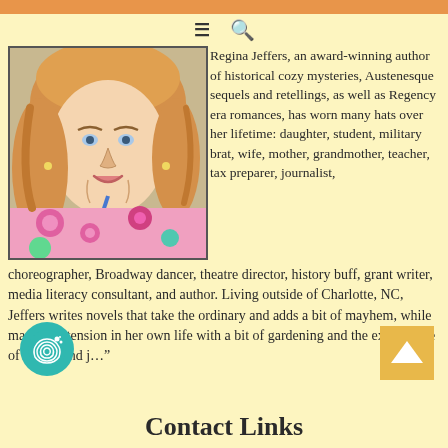[Figure (photo): Portrait photo of Regina Jeffers, a blonde woman wearing a floral top with a blue lanyard, smiling at the camera]
Regina Jeffers, an award-winning author of historical cozy mysteries, Austenesque sequels and retellings, as well as Regency era romances, has worn many hats over her lifetime: daughter, student, military brat, wife, mother, grandmother, teacher, tax preparer, journalist, choreographer, Broadway dancer, theatre director, history buff, grant writer, media literacy consultant, and author. Living outside of Charlotte, NC, Jeffers writes novels that take the ordinary and adds a bit of mayhem, while mastering tension in her own life with a bit of gardening and the exuberance of her “grand j…”
[Figure (logo): Teal circular fingerprint/mystery logo icon]
[Figure (other): Back to top arrow button, orange/gold square]
Contact Links